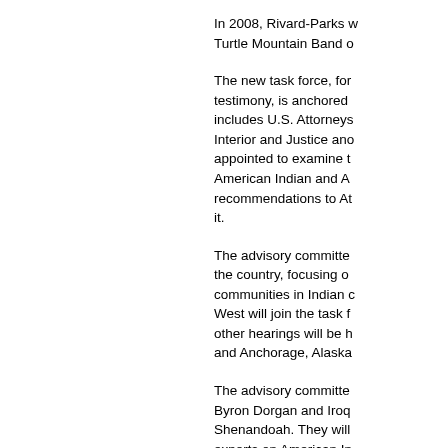In 2008, Rivard-Parks w... Turtle Mountain Band o...
The new task force, for... testimony, is anchored... includes U.S. Attorneys... Interior and Justice ano... appointed to examine t... American Indian and A... recommendations to At... it.
The advisory committe... the country, focusing o... communities in Indian c... West will join the task f... other hearings will be h... and Anchorage, Alaska...
The advisory committe... Byron Dorgan and Iroq... Shenandoah. They will... experts on American In... child welfare and law. T... members:
Dolores Subia Bigt...